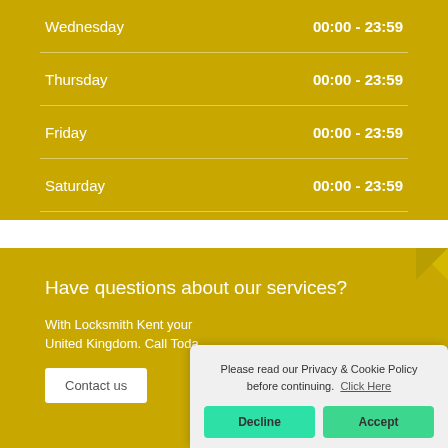Wednesday   00:00 - 23:59
Thursday   00:00 - 23:59
Friday   00:00 - 23:59
Saturday   00:00 - 23:59
Sunday   00:00 - 23:59
Have questions about our services?
With Locksmith Kent your … United Kingdom. Call Toda…
Contact us
Please read our Privacy & Cookie Policy before continuing.  Click Here
Decline
Accept